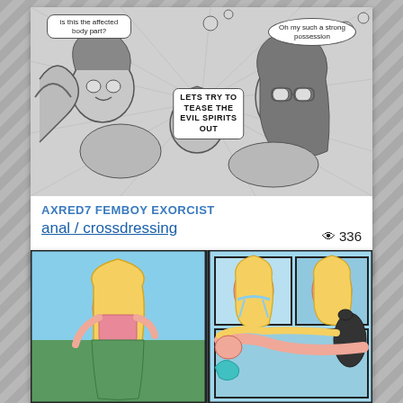[Figure (illustration): Manga-style black and white comic panel showing anime characters with speech bubbles. Bubble 1: 'is this the affected body part?' Bubble 2: 'Oh my such a strong possession' Bubble 3: 'LETS TRY TO TEASE THE EVIL SPIRITS OUT']
AXRED7 FEMBOY EXORCIST
anal / crossdressing
♥ 0
👁 336
03/01/2021
[Figure (illustration): Colored cartoon/animated style comic panels showing a blonde character in a bikini top and green skirt in two panel views]